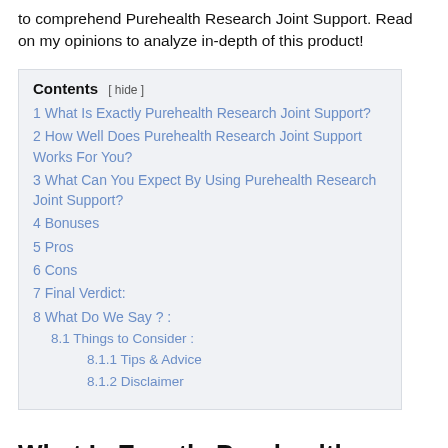to comprehend Purehealth Research Joint Support. Read on my opinions to analyze in-depth of this product!
1 What Is Exactly Purehealth Research Joint Support?
2 How Well Does Purehealth Research Joint Support Works For You?
3 What Can You Expect By Using Purehealth Research Joint Support?
4 Bonuses
5 Pros
6 Cons
7 Final Verdict:
8 What Do We Say ? :
8.1 Things to Consider :
8.1.1 Tips & Advice
8.1.2 Disclaimer
What Is Exactly Purehealth Research Joint Support?